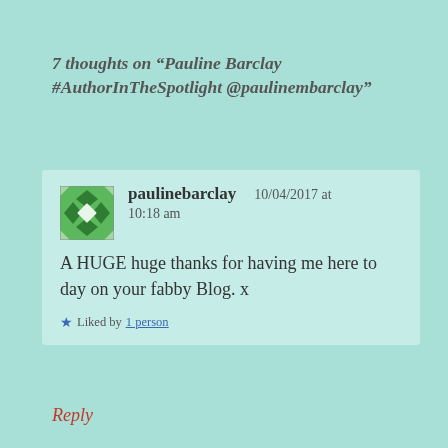7 thoughts on “Pauline Barclay #AuthorInTheSpotlight @paulinembarclay”
paulinebarclay   10/04/2017 at 10:18 am
A HUGE huge thanks for having me here to day on your fabby Blog. x
Liked by 1 person
Reply